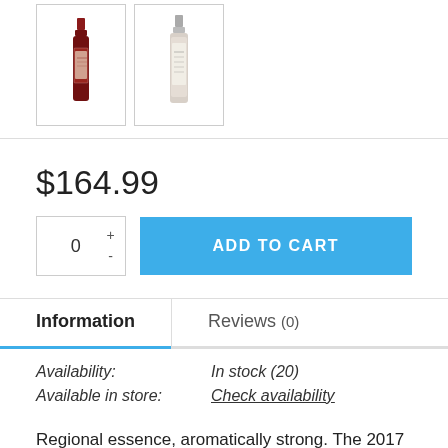[Figure (photo): Two wine bottle thumbnails shown side by side in bordered boxes: left is a dark red wine bottle (Penfolds style), right is a lighter colored bottle with white label.]
$164.99
0  +  -  ADD TO CART
Information
Reviews (0)
Availability:   In stock (20)
Available in store:   Check availability
Regional essence, aromatically strong. The 2017 vintage